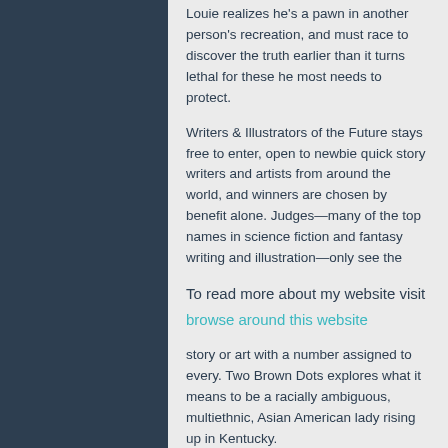Louie realizes he's a pawn in another person's recreation, and must race to discover the truth earlier than it turns lethal for these he most needs to protect.
Writers & Illustrators of the Future stays free to enter, open to newbie quick story writers and artists from around the world, and winners are chosen by benefit alone. Judges—many of the top names in science fiction and fantasy writing and illustration—only see the
To read more about my website visit
browse around this website
story or art with a number assigned to every. Two Brown Dots explores what it means to be a racially ambiguous, multiethnic, Asian American lady rising up in Kentucky.
We present a spread of guess types and markets and aggressive odds throughout sports like football, cricket, rugby, tennis, basketball, baseball and so many extra. Football is the most